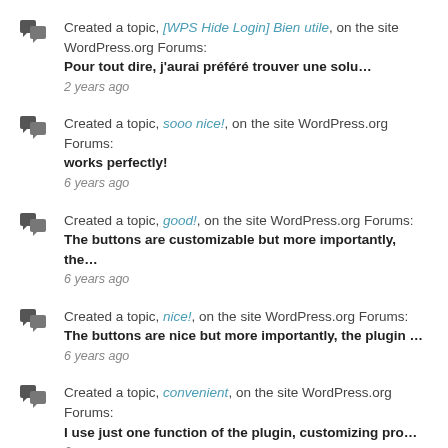Created a topic, [WPS Hide Login] Bien utile, on the site WordPress.org Forums:
Pour tout dire, j'aurai préféré trouver une solu…
2 years ago
Created a topic, sooo nice!, on the site WordPress.org Forums:
works perfectly!
6 years ago
Created a topic, good!, on the site WordPress.org Forums:
The buttons are customizable but more importantly, the…
6 years ago
Created a topic, nice!, on the site WordPress.org Forums:
The buttons are nice but more importantly, the plugin …
6 years ago
Created a topic, convenient, on the site WordPress.org Forums:
I use just one function of the plugin, customizing pro…
6 years ago